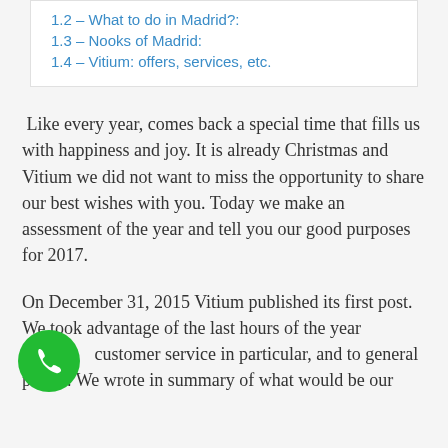1.2 – What to do in Madrid?:
1.3 – Nooks of Madrid:
1.4 – Vitium: offers, services, etc.
Like every year, comes back a special time that fills us with happiness and joy. It is already Christmas and Vitium we did not want to miss the opportunity to share our best wishes with you. Today we make an assessment of the year and tell you our good purposes for 2017.
On December 31, 2015 Vitium published its first post. We took advantage of the last hours of the year to customer service in particular, and to general public. We wrote in summary of what would be our